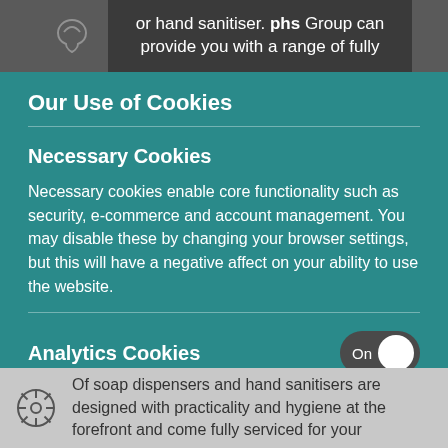or hand sanitiser. phs Group can provide you with a range of fully
Our Use of Cookies
Necessary Cookies
Necessary cookies enable core functionality such as security, e-commerce and account management. You may disable these by changing your browser settings, but this will have a negative affect on your ability to use the website.
Analytics Cookies
We use analytics services from Google and Microsoft to
Of soap dispensers and hand sanitisers are designed with practicality and hygiene at the forefront and come fully serviced for your